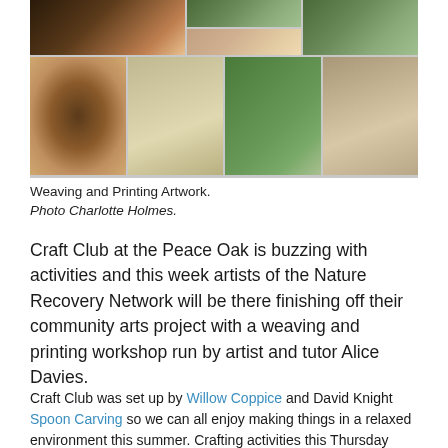[Figure (photo): A collage of photos showing weaving and printing artwork activities outdoors and on a table. Top row includes craft materials on a table and outdoor scenes. Bottom row shows a woven circular basket, a decorative woven hoop with leaves, people working in a field, and a woven piece on a tree trunk.]
Weaving and Printing Artwork.
Photo Charlotte Holmes.
Craft Club at the Peace Oak is buzzing with activities and this week artists of the Nature Recovery Network will be there finishing off their community arts project with a weaving and printing workshop run by artist and tutor Alice Davies.
Craft Club was set up by Willow Coppice and David Knight Spoon Carving so we can all enjoy making things in a relaxed environment this summer. Crafting activities this Thursday include a hand spinning session. David, Jane